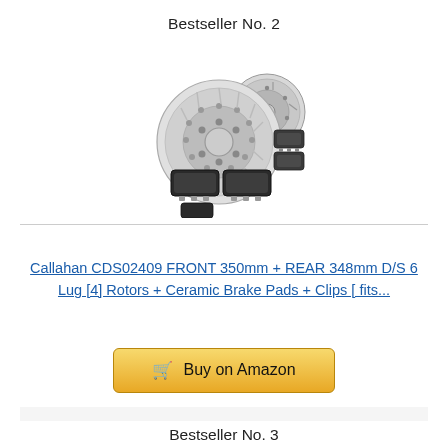Bestseller No. 2
[Figure (photo): Product photo of Callahan CDS02409 brake rotors and ceramic brake pads set — two large drilled and slotted rotors plus front and rear ceramic brake pads with clips]
Callahan CDS02409 FRONT 350mm + REAR 348mm D/S 6 Lug [4] Rotors + Ceramic Brake Pads + Clips [ fits...
Buy on Amazon
Bestseller No. 3